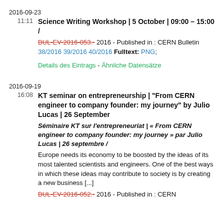2016-09-23
11:11
Science Writing Workshop | 5 October | 09:00 – 15:00 /
BUL-EV-2016-053.- 2016 - Published in : CERN Bulletin 38/2016 39/2016 40/2016 Fulltext: PNG;
Details des Eintrags - Ähnliche Datensätze
2016-09-19
16:08
KT seminar on entrepreneurship | "From CERN engineer to company founder: my journey" by Julio Lucas | 26 September
Séminaire KT sur l'entrepreneuriat | « From CERN engineer to company founder: my journey » par Julio Lucas | 26 septembre /
Europe needs its economy to be boosted by the ideas of its most talented scientists and engineers. One of the best ways in which these ideas may contribute to society is by creating a new business [...]
BUL-EV-2016-052.- 2016 - Published in : CERN